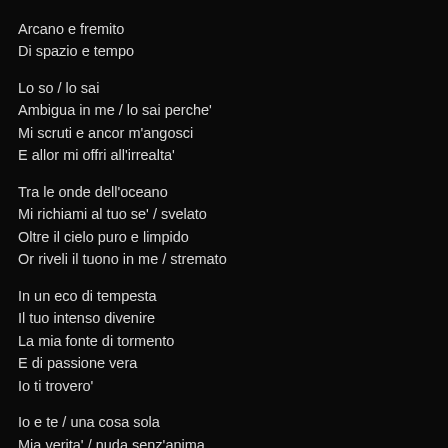Arcano e fremito
Di spazio e tempo
Lo so / lo sai
Ambigua in me / lo sai perche'
Mi scruti e ancor m'angosci
E allor mi offri all'irrealta'
Tra le onde dell'oceano
Mi richiami al tuo se' / svelato
Oltre il cielo puro e limpido
Or riveli il tuono in me / stremato
In un eco di tempesta
Il tuo intenso divenire
La mia fonte di tormento
E di passione vera
Io ti trovero'
Io e te / una cosa sola
Mia verita' / nuda senz'anima